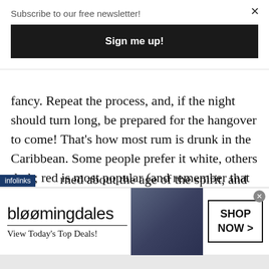Subscribe to our free newsletter!
Sign me up!
fancy. Repeat the process, and, if the night should turn long, be prepared for the hangover to come! That's how most rum is drunk in the Caribbean. Some people prefer it white, others dark; red is most popular (and remember that “red rum” spelled backwards is “murder” — that's what the hangover can feel like). The average rum drinker isn't terribly concerned about the age of the spirit, and the
[Figure (screenshot): Bloomingdale's advertisement banner with logo, 'View Today's Top Deals!' text, woman in wide-brim hat photo, and 'SHOP NOW >' button]